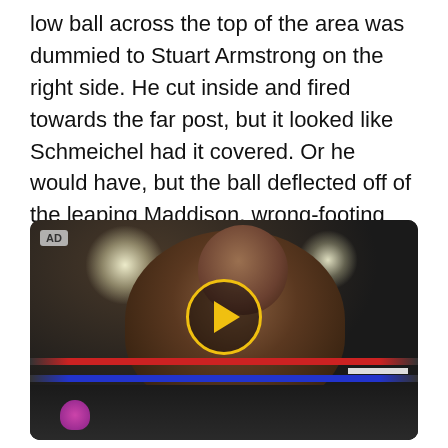low ball across the top of the area was dummied to Stuart Armstrong on the right side. He cut inside and fired towards the far post, but it looked like Schmeichel had it covered. Or he would have, but the ball deflected off of the leaping Maddison, wrong-footing Schmeichel, and allowing the ball to bounce in at the near post.
[Figure (photo): Video advertisement thumbnail showing a muscular Black boxer smiling in a boxing ring, with ring ropes (red and blue) visible in the background, spotlights overhead, and an audience. A yellow-bordered play button circle is overlaid in the center. An 'AD' badge appears in the top-left corner.]